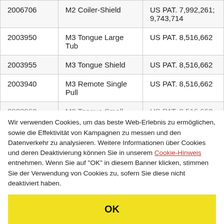| 2006706 | M2 Coiler-Shield | US PAT. 7,992,261; 9,743,714 |
| 2003950 | M3 Tongue Large Tub | US PAT. 8,516,662 |
| 2003955 | M3 Tongue Shield | US PAT. 8,516,662 |
| 2003940 | M3 Remote Single Pull | US PAT. 8,516,662 |
| 2003962 | M3 Tongue Small | US PAT. 8,516,662 |
Wir verwenden Cookies, um das beste Web-Erlebnis zu ermöglichen, sowie die Effektivität von Kampagnen zu messen und den Datenverkehr zu analysieren. Weitere Informationen über Cookies und deren Deaktivierung können Sie in unserem Cookie-Hinweis entnehmen. Wenn Sie auf "OK" in diesem Banner klicken, stimmen Sie der Verwendung von Cookies zu, sofern Sie diese nicht deaktiviert haben.